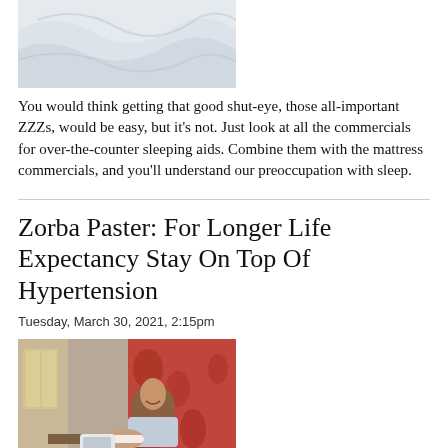[Figure (photo): White rumpled bed sheets photographed from above]
You would think getting that good shut-eye, those all-important ZZZs, would be easy, but it's not. Just look at all the commercials for over-the-counter sleeping aids. Combine them with the mattress commercials, and you'll understand our preoccupation with sleep.
Zorba Paster: For Longer Life Expectancy Stay On Top Of Hypertension
Tuesday, March 30, 2021, 2:15pm
[Figure (photo): A man sitting at a table checking his blood pressure with a blood pressure monitor cuff, smiling, in a home setting with red floral wallpaper]